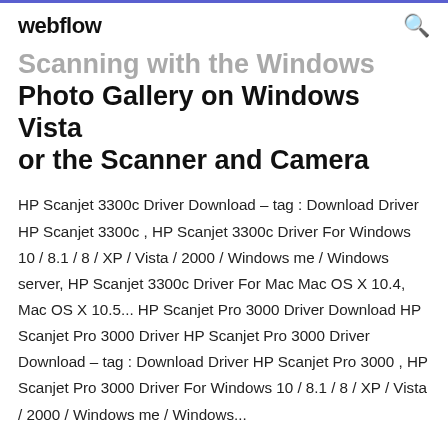webflow
Scanning with the Windows Photo Gallery on Windows Vista or the Scanner and Camera
HP Scanjet 3300c Driver Download – tag : Download Driver HP Scanjet 3300c , HP Scanjet 3300c Driver For Windows 10 / 8.1 / 8 / XP / Vista / 2000 / Windows me / Windows server, HP Scanjet 3300c Driver For Mac Mac OS X 10.4, Mac OS X 10.5... HP Scanjet Pro 3000 Driver Download HP Scanjet Pro 3000 Driver HP Scanjet Pro 3000 Driver Download – tag : Download Driver HP Scanjet Pro 3000 , HP Scanjet Pro 3000 Driver For Windows 10 / 8.1 / 8 / XP / Vista / 2000 / Windows me / Windows...